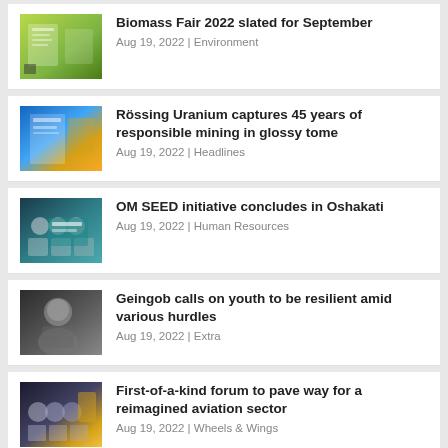Biomass Fair 2022 slated for September
Aug 19, 2022 | Environment
Rössing Uranium captures 45 years of responsible mining in glossy tome
Aug 19, 2022 | Headlines
OM SEED initiative concludes in Oshakati
Aug 19, 2022 | Human Resources
Geingob calls on youth to be resilient amid various hurdles
Aug 19, 2022 | Extra
First-of-a-kind forum to pave way for a reimagined aviation sector
Aug 19, 2022 | Wheels & Wings
Tshin...